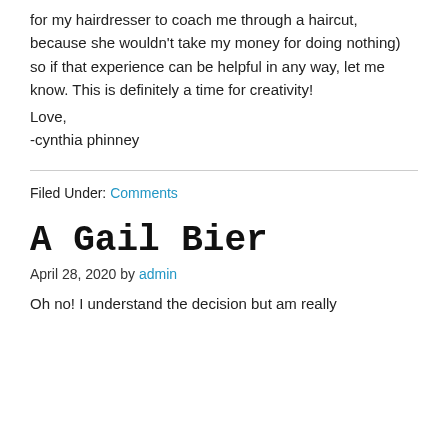for my hairdresser to coach me through a haircut, because she wouldn't take my money for doing nothing) so if that experience can be helpful in any way, let me know. This is definitely a time for creativity!
Love,
-cynthia phinney
Filed Under: Comments
A Gail Bier
April 28, 2020 by admin
Oh no! I understand the decision but am really